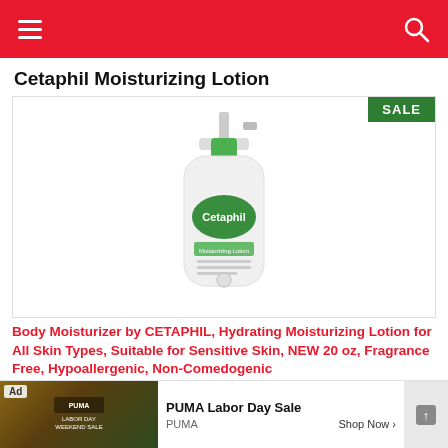Cetaphil Moisturizing Lotion
[Figure (photo): Cetaphil Moisturizing Lotion bottle with green pump top and green oval label on white background. Green SALE badge in top right corner.]
Body Moisturizer by CETAPHIL, Hydrating Moisturizing Lotion for All Skin Types, Suitable for Sensitive Skin, NEW 20 oz, Fragrance Free, Hypoallergenic, Non-Comedogenic
[Figure (photo): Ad: PUMA Labor Day Sale advertisement with PUMA Labor Day Weekend Sale text and Shop Now button]